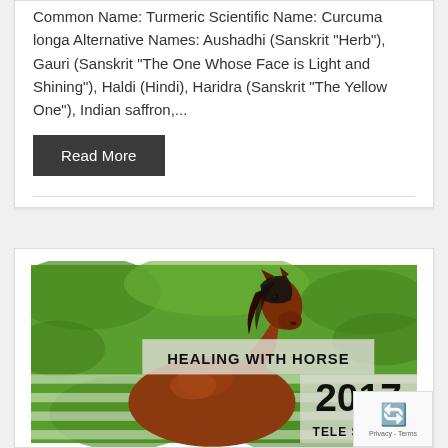Common Name: Turmeric Scientific Name: Curcuma longa Alternative Names: Aushadhi (Sanskrit "Herb"), Gauri (Sanskrit "The One Whose Face is Light and Shining"), Haldi (Hindi), Haridra (Sanskrit "The Yellow One"), Indian saffron,...
Read More
[Figure (photo): Photo of a brown horse with a banner overlay reading 'Healing with Horse 2017 Tele Summit' on a green background]